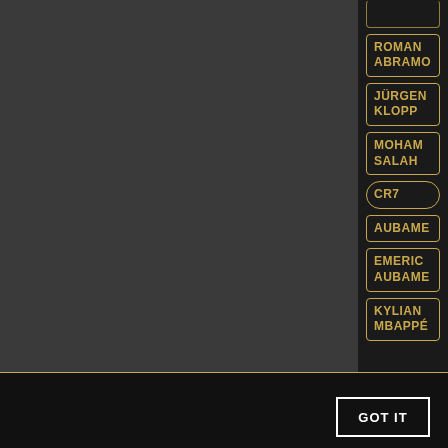[Figure (screenshot): Dark website interface showing a list of football/sports personality name badges on the right panel with gold borders on dark background. Names include: ROMAN ABRAMOVICH, JÜRGEN KLOPP, MOHAMED SALAH, CR7, AUBAMEYANG, EMERIC AUBAMEYANG, KYLIAN MBAPPÉ. Left panel is a dark grey content area.]
This website uses cookies to ensure you get the best experience on our website. Learn More
GOT IT